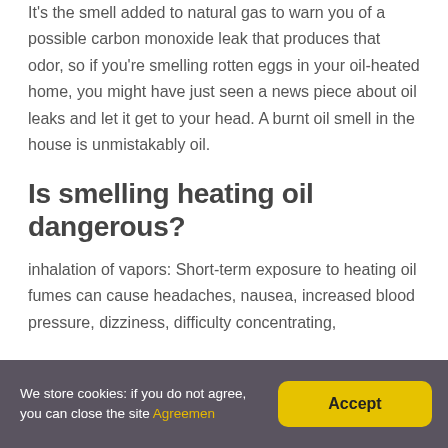It's the smell added to natural gas to warn you of a possible carbon monoxide leak that produces that odor, so if you're smelling rotten eggs in your oil-heated home, you might have just seen a news piece about oil leaks and let it get to your head. A burnt oil smell in the house is unmistakably oil.
Is smelling heating oil dangerous?
inhalation of vapors: Short-term exposure to heating oil fumes can cause headaches, nausea, increased blood pressure, dizziness, difficulty concentrating,
We store cookies: if you do not agree, you can close the site Agreemen